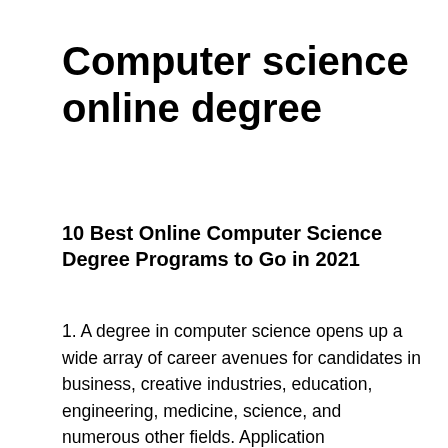Computer science online degree
10 Best Online Computer Science Degree Programs to Go in 2021
1. A degree in computer science opens up a wide array of career avenues for candidates in business, creative industries, education, engineering, medicine, science, and numerous other fields. Application programmer, coder, network administrator, software engineer, a systems analyst, and video game